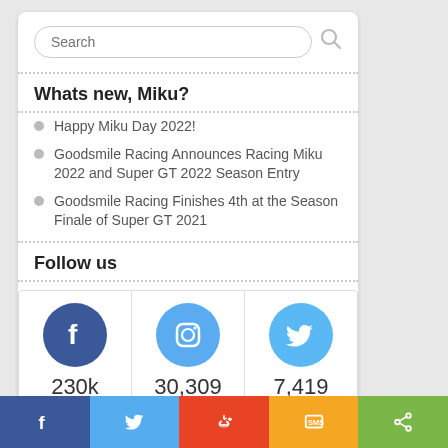Search
Whats new, Miku?
Happy Miku Day 2022!
Goodsmile Racing Announces Racing Miku 2022 and Super GT 2022 Season Entry
Goodsmile Racing Finishes 4th at the Season Finale of Super GT 2021
Follow us
[Figure (infographic): Three social media follow buttons: Facebook 230k Fans, Instagram 30,309 Followers, Twitter 7,419 Followers]
[Figure (infographic): Bottom share bar with Facebook, Twitter, Reddit, SMS, and Share buttons]